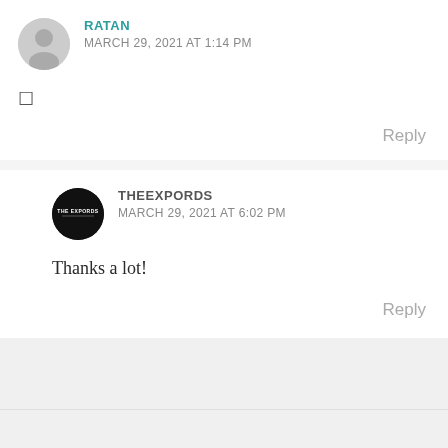[Figure (illustration): Gray default user avatar circle icon for commenter RATAN]
RATAN
MARCH 29, 2021 AT 1:14 PM
□
Reply
[Figure (logo): Black circular logo for THEEXPORDS with text THE EXPORDS inside]
THEEXPORDS
MARCH 29, 2021 AT 6:02 PM
Thanks a lot!
Reply